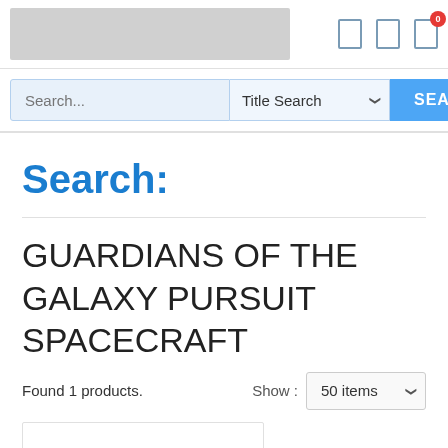[Figure (screenshot): Website header with logo placeholder (grey rectangle) and icons (bookmark, compare, cart with badge '0')]
[Figure (screenshot): Search bar with text input placeholder 'Search...', dropdown 'Title Search', and blue SEARCH button]
Search:
GUARDIANS OF THE GALAXY PURSUIT SPACECRAFT
Found 1 products.
Show : 50 items
[Figure (screenshot): Partial product image thumbnail (white box, partially visible at bottom)]